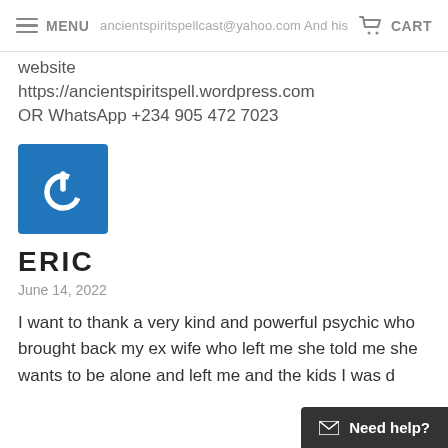MENU | CART
website
https://ancientspiritspell.wordpress.com
OR WhatsApp +234 905 472 7023
[Figure (logo): Blue square avatar with white power button icon]
ERIC
June 14, 2022
I want to thank a very kind and powerful psychic who brought back my ex wife who left me she told me she wants to be alone and left me and the kids I was d